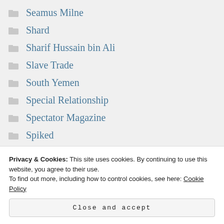Seamus Milne
Shard
Sharif Hussain bin Ali
Slave Trade
South Yemen
Special Relationship
Spectator Magazine
Spiked
Star Wars
Privacy & Cookies: This site uses cookies. By continuing to use this website, you agree to their use.
To find out more, including how to control cookies, see here: Cookie Policy
Close and accept